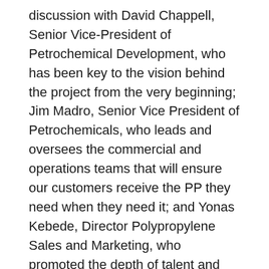discussion with David Chappell, Senior Vice-President of Petrochemical Development, who has been key to the vision behind the project from the very beginning; Jim Madro, Senior Vice President of Petrochemicals, who leads and oversees the commercial and operations teams that will ensure  our customers receive the PP they need when they need it; and Yonas Kebede, Director Polypropylene Sales and Marketing, who promoted the depth of talent and expertise on the customer focused sales team.
“While we await the day when we can meet our customers in person, the event provided a great platform for us to share an inside look at